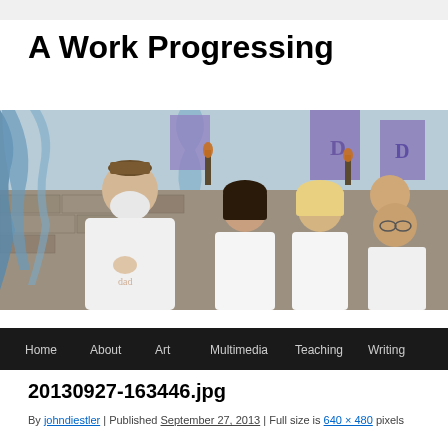A Work Progressing
[Figure (photo): Group photo of five people (a bearded man in a white t-shirt with 'Dad' print wearing a brown hat, a woman with dark hair, a bald man, a blonde woman, and a man with glasses) standing outdoors in front of a stone wall with blue and purple fabric banners. A black navigation bar at the bottom shows: Home, About, Art, Multimedia, Teaching, Writing.]
20130927-163446.jpg
By johndiestler | Published September 27, 2013 | Full size is 640 × 480 pixels